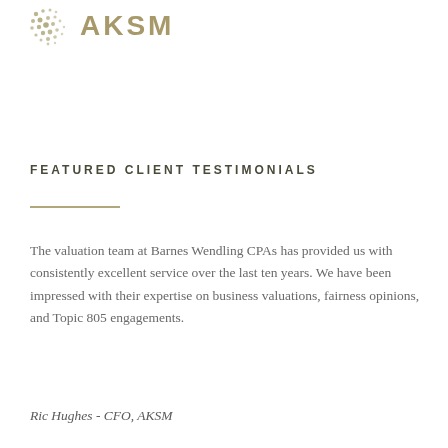[Figure (logo): AKSM logo with dots cluster and stylized text]
FEATURED CLIENT TESTIMONIALS
The valuation team at Barnes Wendling CPAs has provided us with consistently excellent service over the last ten years. We have been impressed with their expertise on business valuations, fairness opinions, and Topic 805 engagements.
Ric Hughes - CFO, AKSM